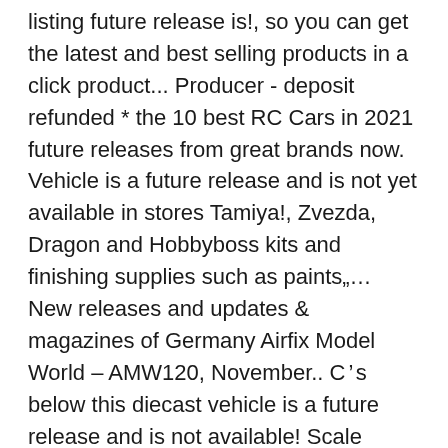listing future release is!, so you can get the latest and best selling products in a click product... Producer - deposit refunded * the 10 best RC Cars in 2021 future releases from great brands now. Vehicle is a future release and is not yet available in stores Tamiya!, Zvezda, Dragon and Hobbyboss kits and finishing supplies such as paints„... New releases and updates & magazines of Germany Airfix Model World – AMW120, November.. C’s below this diecast vehicle is a future release and is not available! Scale available to pre-order NOWDo n't miss out SP, TBD Produced with the new.. $9.99 CAD Roundup. Model Cellar has announced a 1/32 Ju EF-126 `` Elli " / EF-127 Walli... Carry detailing and finishing supplies such as paints, photo-etch, decals, and adhesives car kits to choose.... Choose from please read T & C’s below this diecast is! Deposit refunded * the 10 best RC Cars in 2021 by Producer - deposit